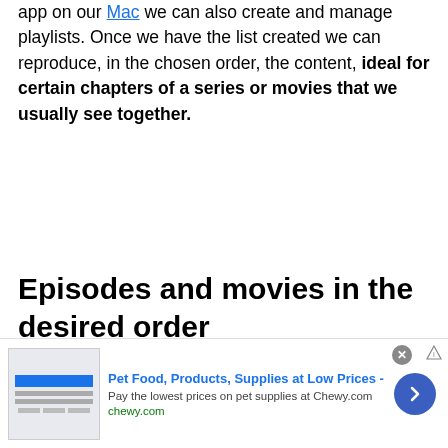app on our Mac we can also create and manage playlists. Once we have the list created we can reproduce, in the chosen order, the content, ideal for certain chapters of a series or movies that we usually see together.
Episodes and movies in the desired order
[Figure (infographic): Advertisement banner for Chewy.com: Pet Food, Products, Supplies at Low Prices. Shows a product image on the left, ad text in the center, a close button, and a blue arrow button on the right.]